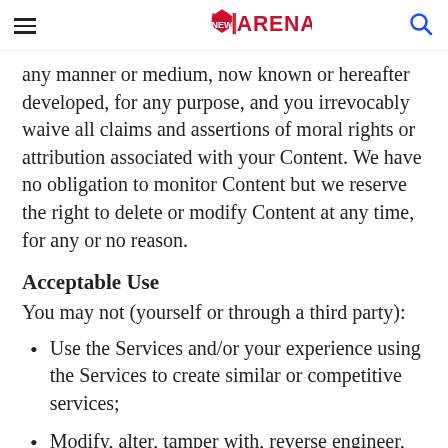NEW ARENA
any manner or medium, now known or hereafter developed, for any purpose, and you irrevocably waive all claims and assertions of moral rights or attribution associated with your Content. We have no obligation to monitor Content but we reserve the right to delete or modify Content at any time, for any or no reason.
Acceptable Use
You may not (yourself or through a third party):
Use the Services and/or your experience using the Services to create similar or competitive services;
Modify, alter, tamper with, reverse engineer, create derivative works of, repurpose or repackage any content or other aspect of the Services, except and